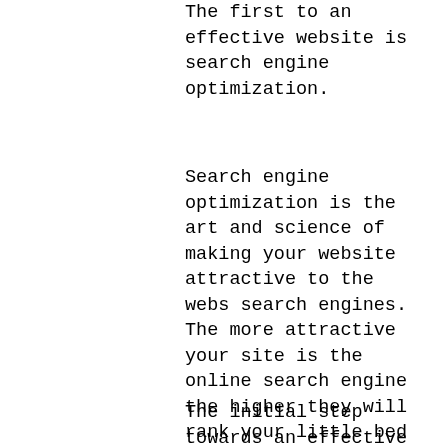The first to an effective website is search engine optimization.
Search engine optimization is the art and science of making your website attractive to the webs search engines. The more attractive your site is the online search engine the higher they will rank your little bed and breakfast. The greater your website ranks the more people, hopefully, will check your site out.
The initial step towards an effective website is getting